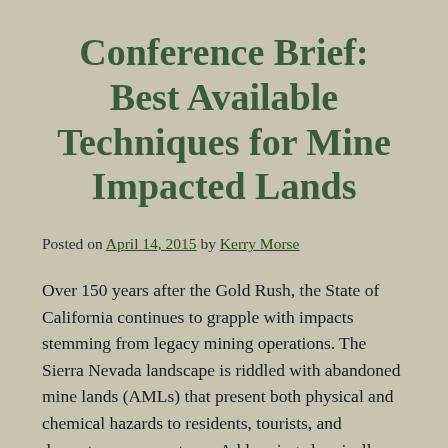Conference Brief: Best Available Techniques for Mine Impacted Lands
Posted on April 14, 2015 by Kerry Morse
Over 150 years after the Gold Rush, the State of California continues to grapple with impacts stemming from legacy mining operations. The Sierra Nevada landscape is riddled with abandoned mine lands (AMLs) that present both physical and chemical hazards to residents, tourists, and downstream ecosystems. Addressing chemically